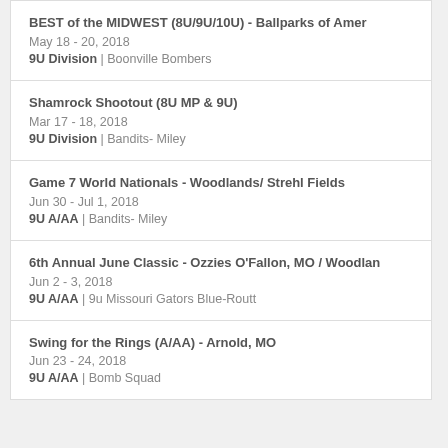BEST of the MIDWEST (8U/9U/10U) - Ballparks of Amer
May 18 - 20, 2018
9U Division | Boonville Bombers
Shamrock Shootout (8U MP & 9U)
Mar 17 - 18, 2018
9U Division | Bandits- Miley
Game 7 World Nationals - Woodlands/ Strehl Fields
Jun 30 - Jul 1, 2018
9U A/AA | Bandits- Miley
6th Annual June Classic - Ozzies O'Fallon, MO / Woodlan
Jun 2 - 3, 2018
9U A/AA | 9u Missouri Gators Blue-Routt
Swing for the Rings (A/AA) - Arnold, MO
Jun 23 - 24, 2018
9U A/AA | Bomb Squad